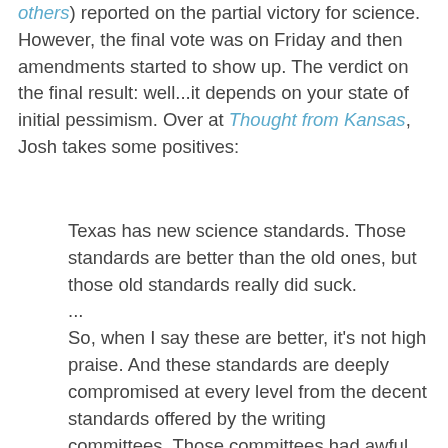others) reported on the partial victory for science. However, the final vote was on Friday and then amendments started to show up. The verdict on the final result: well...it depends on your state of initial pessimism. Over at Thought from Kansas, Josh takes some positives:
Texas has new science standards. Those standards are better than the old ones, but those old standards really did suck.
...
So, when I say these are better, it's not high praise. And these standards are deeply compromised at every level from the decent standards offered by the writing committees. Those committees had awful starting material, and did a lot to improve them, but the draft standards weren't world-class to start with, and the compromise we saw today made them much worse.
And here is the actual language that is being used:
The compromise on strengths and weaknesses